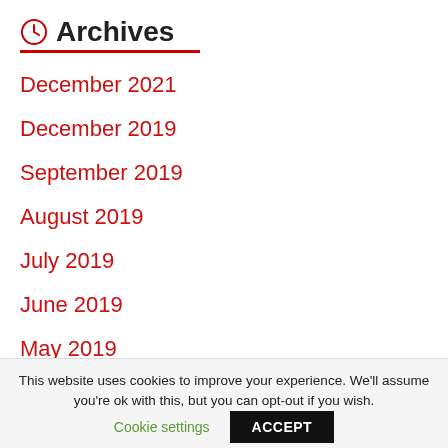Archives
December 2021
December 2019
September 2019
August 2019
July 2019
June 2019
May 2019
April 2019
This website uses cookies to improve your experience. We'll assume you're ok with this, but you can opt-out if you wish.
Cookie settings
ACCEPT